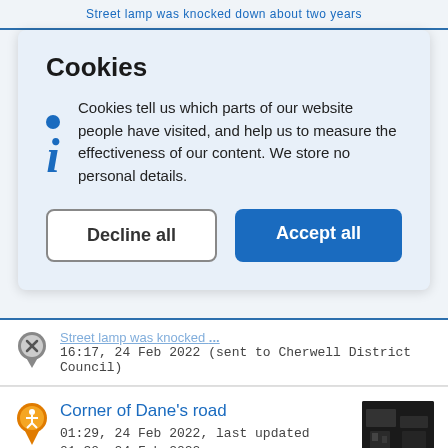Street lamp was knocked down about two years
Cookies
Cookies tell us which parts of our website people have visited, and help us to measure the effectiveness of our content. We store no personal details.
Decline all | Accept all
16:17, 24 Feb 2022 (sent to Cherwell District Council)
Corner of Dane's road
01:29, 24 Feb 2022, last updated 01:30, 24 Feb 2022
[Figure (photo): Thumbnail photo associated with the Corner of Dane's road report, dark image]